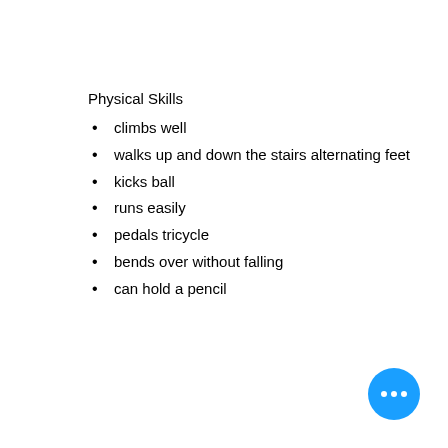Physical Skills
climbs well
walks up and down the stairs alternating feet
kicks ball
runs easily
pedals tricycle
bends over without falling
can hold a pencil